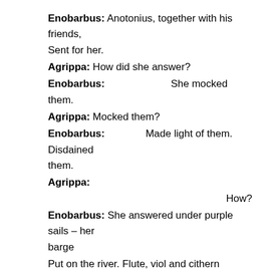Enobarbus: Anotonius, together with his friends, Sent for her.
Agrippa: How did she answer?
Enobarbus:   She mocked them.
Agrippa: Mocked them?
Enobarbus:   Made light of them. Disdained them.
Agrippa:
How?
Enobarbus: She answered under purple sails – her barge
Put on the river. Flute, viol and cithern
Played, and the oars struck water to their rhythm.
The poop was gold; gold glittered in its wake
As though the sun strew petals after her.
As for the Queen herself, she lay bedecked